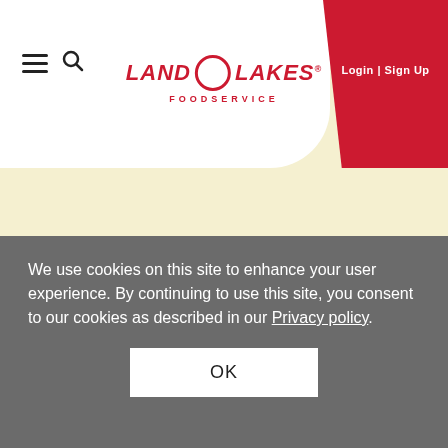[Figure (logo): Land O Lakes Foodservice logo in red italic text with circle between LAND and LAKES, red on white background]
Login | Sign Up
We use cookies on this site to enhance your user experience. By continuing to use this site, you consent to our cookies as described in our Privacy policy.
OK